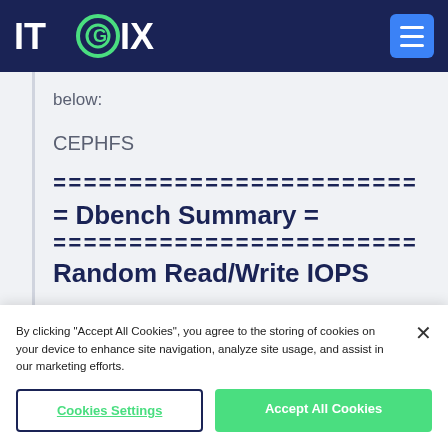ITGIX
below:
CEPHFS
========================
= Dbench Summary =
========================
Random Read/Write IOPS
By clicking "Accept All Cookies", you agree to the storing of cookies on your device to enhance site navigation, analyze site usage, and assist in our marketing efforts.
Cookies Settings
Accept All Cookies